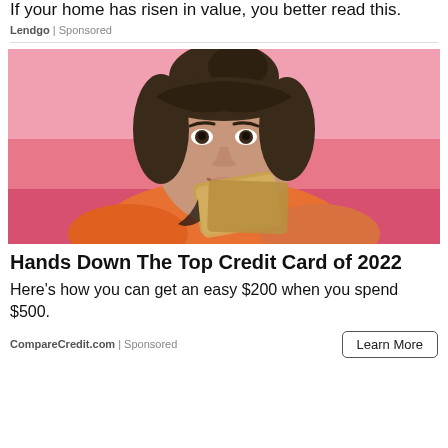If your home has risen in value, you better read this.
Lendgo | Sponsored
[Figure (photo): Young woman with dark hair and bangs holding a gold/tan credit card near her mouth, wearing an orange top, against a pink background.]
Hands Down The Top Credit Card of 2022
Here's how you can get an easy $200 when you spend $500.
CompareCredit.com | Sponsored
Learn More